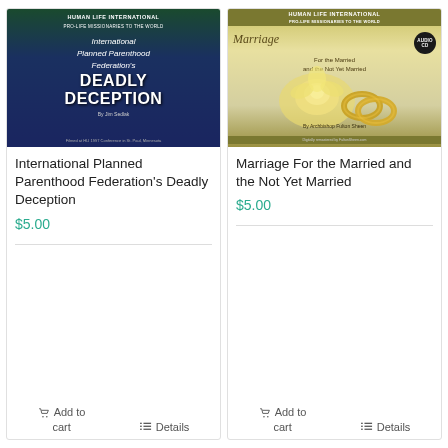[Figure (illustration): Book cover: International Planned Parenthood Federation's Deadly Deception by Jim Sedlak. Dark blue/green background with silhouette. Human Life International Pro-Life Missionaries to the World header.]
International Planned Parenthood Federation's Deadly Deception
$5.00
Add to cart
Details
[Figure (illustration): Audio CD cover: Marriage For the Married and the Not Yet Married by Archbishop Fulton Sheen. Olive/cream background with yellow rose and gold rings. Human Life International Pro-Life Missionaries to the World header.]
Marriage For the Married and the Not Yet Married
$5.00
Add to cart
Details